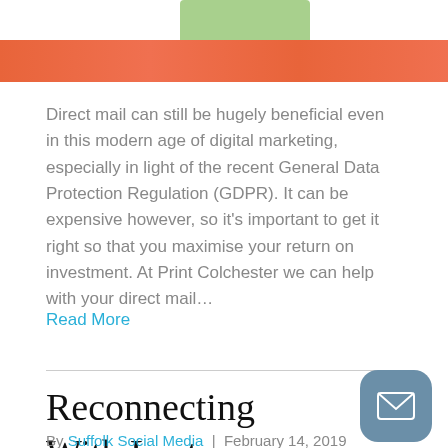[Figure (illustration): Green rectangular shape at top, partially visible]
[Figure (illustration): Orange/coral colored horizontal banner bar]
Direct mail can still be hugely beneficial even in this modern age of digital marketing, especially in light of the recent General Data Protection Regulation (GDPR). It can be expensive however, so it's important to get it right so that you maximise your return on investment. At Print Colchester we can help with your direct mail…
Read More
Reconnecting With Lost Customers
By Suffolk Social Media | February 14, 2019